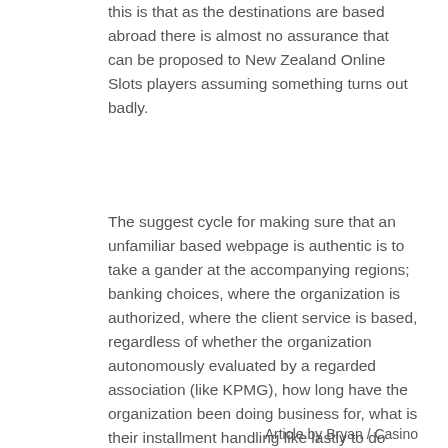this is that as the destinations are based abroad there is almost no assurance that can be proposed to New Zealand Online Slots players assuming something turns out badly.
The suggest cycle for making sure that an unfamiliar based webpage is authentic is to take a gander at the accompanying regions; banking choices, where the organization is authorized, where the client service is based, regardless of whether the organization autonomously evaluated by a regarded association (like KPMG), how long have the organization been doing business for, what is their installment handling like lastly to do some examination online to check whether different Kiwis have played on the website and can suggest it.
Article by Bryan / Casino